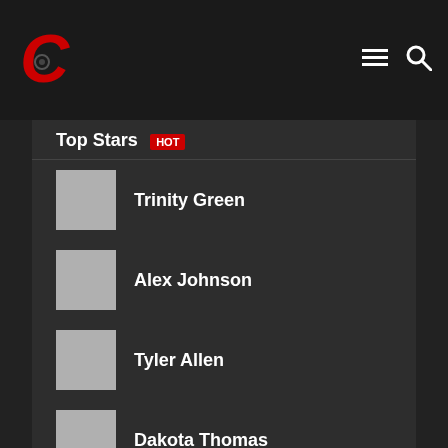Top Stars HOT
Trinity Green
Alex Johnson
Tyler Allen
Dakota Thomas
Daniel Walker
Kayla Miller
Alyssa Moore